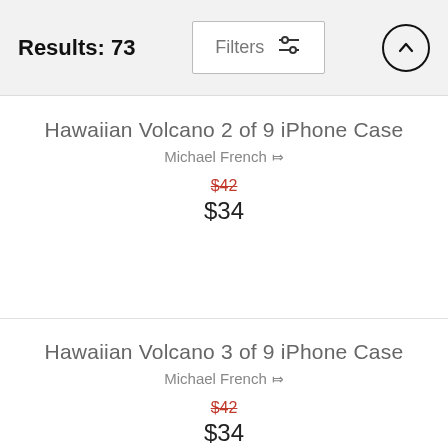Results: 73  Filters  ↑
Hawaiian Volcano 2 of 9 iPhone Case
Michael French
$42  $34
Hawaiian Volcano 3 of 9 iPhone Case
Michael French
$42  $34